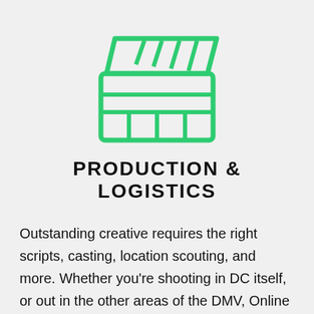[Figure (illustration): Green outline icon of a film clapperboard (movie clapper) centered at top of page]
PRODUCTION & LOGISTICS
Outstanding creative requires the right scripts, casting, location scouting, and more. Whether you're shooting in DC itself, or out in the other areas of the DMV, Online [Opt]imism's creative productive assistance will handle the headaches so you can relax and enjoy the final product. Our team's capable of handling video shoots in Maryland, Virginia, or anywhere else within the domestic